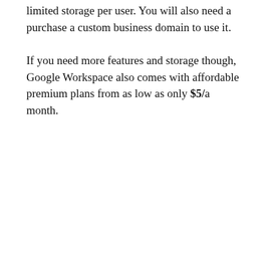limited storage per user. You will also need a purchase a custom business domain to use it.
If you need more features and storage though, Google Workspace also comes with affordable premium plans from as low as only $5/a month.